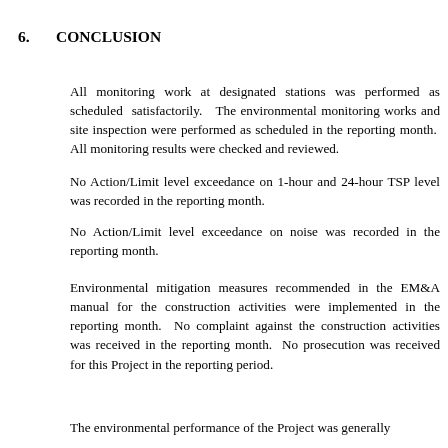6.      CONCLUSION
All monitoring work at designated stations was performed as scheduled satisfactorily.  The environmental monitoring works and site inspection were performed as scheduled in the reporting month.  All monitoring results were checked and reviewed.
No Action/Limit level exceedance on 1-hour and 24-hour TSP level was recorded in the reporting month.
No Action/Limit level exceedance on noise was recorded in the reporting month.
Environmental mitigation measures recommended in the EM&A manual for the construction activities were implemented in the reporting month.  No complaint against the construction activities was received in the reporting month.  No prosecution was received for this Project in the reporting period.
The environmental performance of the Project was generally